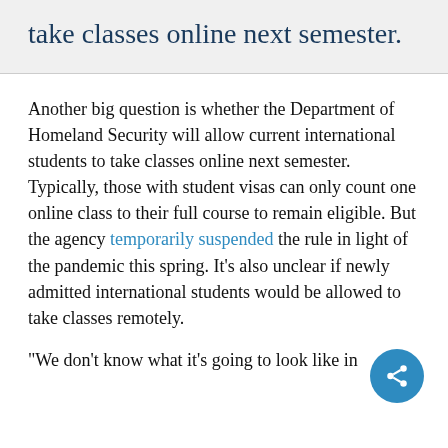take classes online next semester.
Another big question is whether the Department of Homeland Security will allow current international students to take classes online next semester. Typically, those with student visas can only count one online class to their full course to remain eligible. But the agency temporarily suspended the rule in light of the pandemic this spring. It’s also unclear if newly admitted international students would be allowed to take classes remotely.
“We don’t know what it’s going to look like in